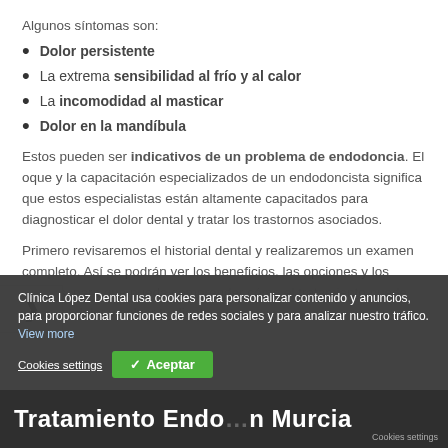Algunos síntomas son:
Dolor persistente
La extrema sensibilidad al frío y al calor
La incomodidad al masticar
Dolor en la mandíbula
Estos pueden ser indicativos de un problema de endodoncia. El [oque y la capacitación especializados de un endodoncista significa que estos especialistas están altamente capacitados para diagnosticar el dolor dental y tratar los trastornos asociados.
Primero revisaremos el historial dental y realizaremos un examen completo. Así se podrán ver los beneficios, las opciones y los riesgos, para que pueda comprender cómo el tratamiento puede aliviar el dolor y salvar tu diente.
Clínica López Dental usa cookies para personalizar contenido y anuncios, para proporcionar funciones de redes sociales y para analizar nuestro tráfico. View more
Cookies settings   ✓ Aceptar
Tratamiento Endo... n Murcia   Cookies settings